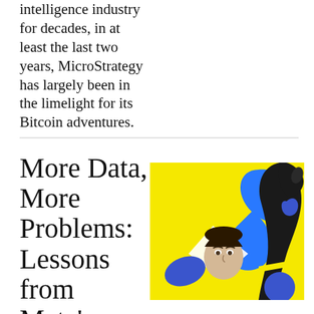intelligence industry for decades, in at least the last two years, MicroStrategy has largely been in the limelight for its Bitcoin adventures.
More Data, More Problems: Lessons from Meta's
[Figure (illustration): Yellow background collage illustration featuring a blue infinity symbol, a dark gloved hand pointing upward, a human face peeking from center, and blue geometric shapes.]